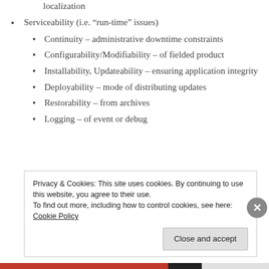localization
Serviceability (i.e. “run-time” issues)
Continuity – administrative downtime constraints
Configurability/Modifiability – of fielded product
Installability, Updateability – ensuring application integrity
Deployability – mode of distributing updates
Restorability – from archives
Logging – of event or debug
Privacy & Cookies: This site uses cookies. By continuing to use this website, you agree to their use. To find out more, including how to control cookies, see here: Cookie Policy
Close and accept